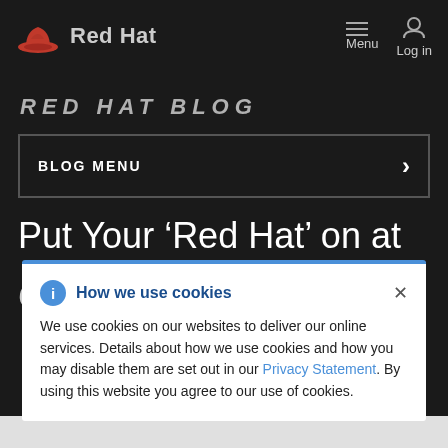Red Hat
RED HAT BLOG
BLOG MENU
Put Your ‘Red Hat’ on at
GABR HIDE 2016!
How we use cookies
We use cookies on our websites to deliver our online services. Details about how we use cookies and how you may disable them are set out in our Privacy Statement. By using this website you agree to our use of cookies.